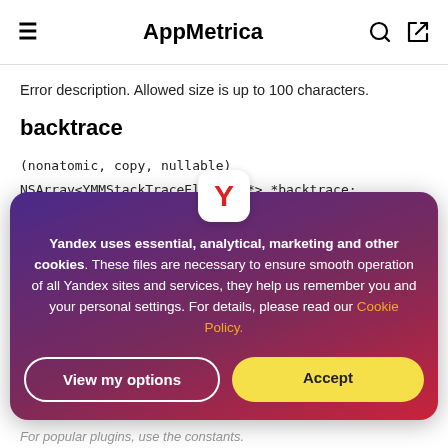≡  AppMetrica  🔍  ➡
Error description. Allowed size is up to 100 characters.
backtrace
(nonatomic, copy, nullable)
NSArray<YMMStackTraceElement *> *backtrace;
Error backtrace. Allowed  Up to 200 frames.
Yandex uses essential, analytical, marketing and other cookies. These files are necessary to ensure smooth operation of all Yandex sites and services, they help us remember you and your personal settings. For details, please read our Cookie Policy.
View my options
Accept
For popular plugins, use the constants.